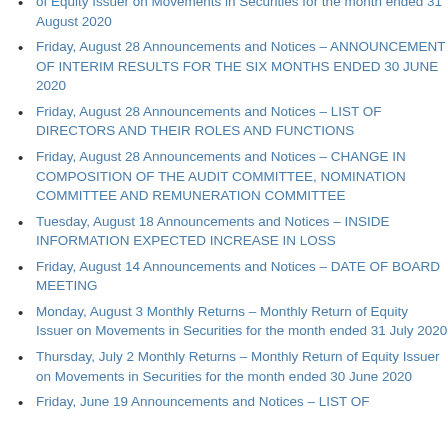of Equity Issuer on Movements in Securities for the month ended 31 August 2020
Friday, August 28 Announcements and Notices – ANNOUNCEMENT OF INTERIM RESULTS FOR THE SIX MONTHS ENDED 30 JUNE 2020
Friday, August 28 Announcements and Notices – LIST OF DIRECTORS AND THEIR ROLES AND FUNCTIONS
Friday, August 28 Announcements and Notices – CHANGE IN COMPOSITION OF THE AUDIT COMMITTEE, NOMINATION COMMITTEE AND REMUNERATION COMMITTEE
Tuesday, August 18 Announcements and Notices – INSIDE INFORMATION EXPECTED INCREASE IN LOSS
Friday, August 14 Announcements and Notices – DATE OF BOARD MEETING
Monday, August 3 Monthly Returns – Monthly Return of Equity Issuer on Movements in Securities for the month ended 31 July 2020
Thursday, July 2 Monthly Returns – Monthly Return of Equity Issuer on Movements in Securities for the month ended 30 June 2020
Friday, June 19 Announcements and Notices – LIST OF